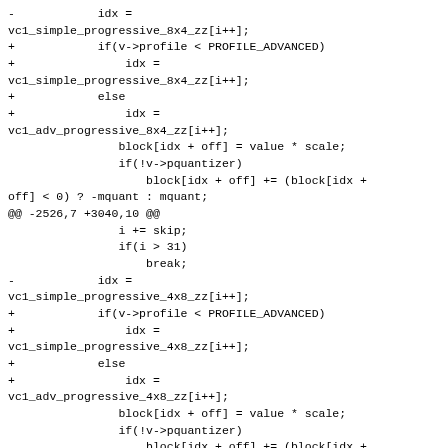Diff/patch code snippet showing VC1 decoder changes for simple and advanced profile progressive scan zigzag index selection